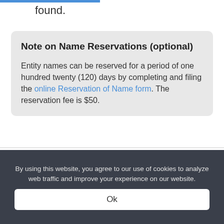found.
Note on Name Reservations (optional)
Entity names can be reserved for a period of one hundred twenty (120) days by completing and filing the online Reservation of Name form. The reservation fee is $50.
By using this website, you agree to our use of cookies to analyze web traffic and improve your experience on our website.
Ok